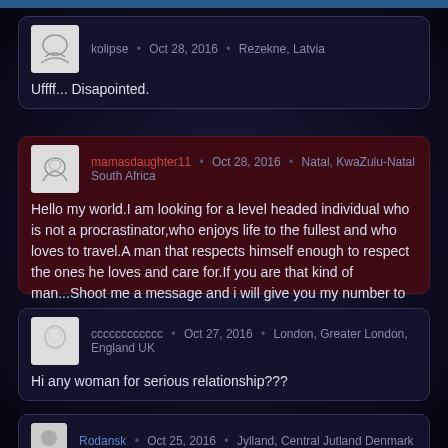kolipse • Oct 28, 2016 • Rezekne, Latvia
Uffff... Disapointed.
mamasdaughter11 • Oct 28, 2016 • Natal, KwaZulu-Natal South Africa
Hello my world.I am looking for a level headed individual who is not a procrastinator,who enjoys life to the fullest and who loves to travel.A man that respects himself enough to respect the ones he loves and care for.If you are that kind of man...Shoot me a message and i will give you my number to start from there..Whatsap only ( +27 616619780 ) Thank you
cccccccccccc • Oct 27, 2016 • London, Greater London, England UK
Hi any woman for serious relationship???
Rodansk • Oct 25, 2016 • Jylland, Central Jutland Denmark